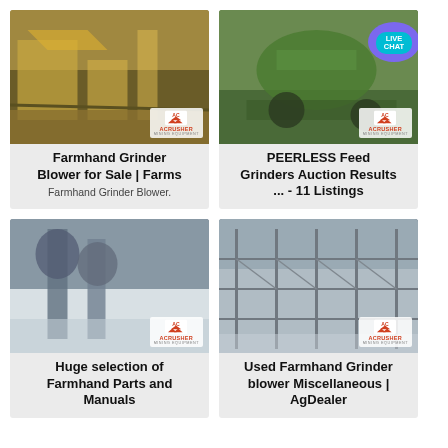[Figure (photo): Industrial mining/crushing equipment (yellow machinery) with ACRUSHER MINING EQUIPMENT logo watermark]
Farmhand Grinder Blower for Sale | Farms
Farmhand Grinder Blower.
[Figure (photo): Green mobile crushing equipment on trailer with ACRUSHER MINING EQUIPMENT logo watermark and LIVE CHAT bubble]
PEERLESS Feed Grinders Auction Results ... - 11 Listings
[Figure (photo): Industrial silos and processing towers with ACRUSHER MINING EQUIPMENT logo watermark]
Huge selection of Farmhand Parts and Manuals
[Figure (photo): Steel frame industrial building structure with ACRUSHER MINING EQUIPMENT logo watermark]
Used Farmhand Grinder blower Miscellaneous | AgDealer